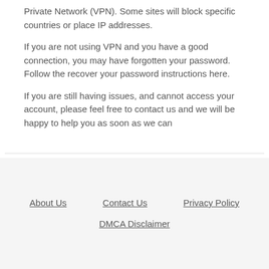Private Network (VPN). Some sites will block specific countries or place IP addresses.
If you are not using VPN and you have a good connection, you may have forgotten your password. Follow the recover your password instructions here.
If you are still having issues, and cannot access your account, please feel free to contact us and we will be happy to help you as soon as we can
About Us   Contact Us   Privacy Policy   DMCA Disclaimer